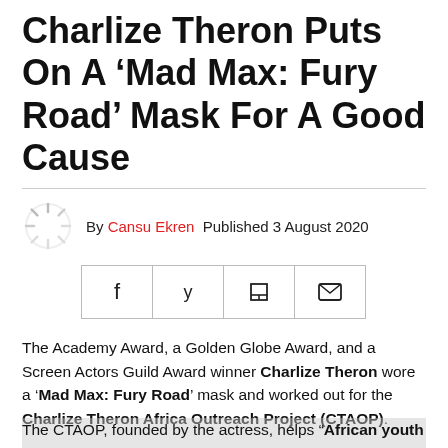Charlize Theron Puts On A 'Mad Max: Fury Road' Mask For A Good Cause
By Cansu Ekren Published 3 August 2020
[Figure (other): Social sharing buttons: Facebook, Twitter, Flipboard, Email]
The Academy Award, a Golden Globe Award, and a Screen Actors Guild Award winner Charlize Theron wore a 'Mad Max: Fury Road' mask and worked out for the Charlize Theron Africa Outreach Project (CTAOP).
The CTAOP, founded by the actress, helps "African youth to keep themselves safe from HIV." To support the organization Theron hosted a drive-in screening of 'Mad Max'...